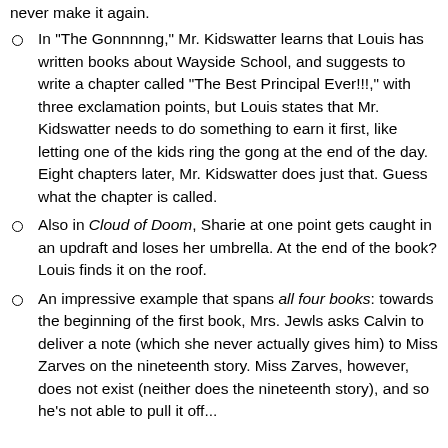never make it again.
In "The Gonnnnng," Mr. Kidswatter learns that Louis has written books about Wayside School, and suggests to write a chapter called "The Best Principal Ever!!!," with three exclamation points, but Louis states that Mr. Kidswatter needs to do something to earn it first, like letting one of the kids ring the gong at the end of the day. Eight chapters later, Mr. Kidswatter does just that. Guess what the chapter is called.
Also in Cloud of Doom, Sharie at one point gets caught in an updraft and loses her umbrella. At the end of the book? Louis finds it on the roof.
An impressive example that spans all four books: towards the beginning of the first book, Mrs. Jewls asks Calvin to deliver a note (which she never actually gives him) to Miss Zarves on the nineteenth story. Miss Zarves, however, does not exist (neither does the nineteenth story), and so he's not able to pull it off...